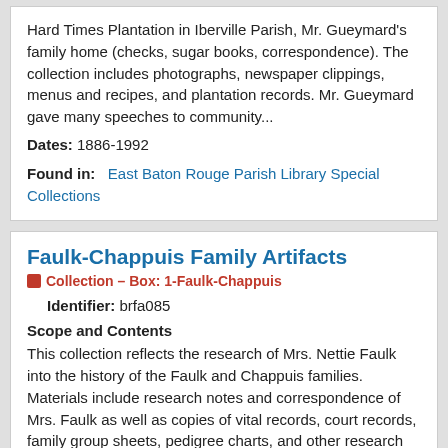Hard Times Plantation in Iberville Parish, Mr. Gueymard's family home (checks, sugar books, correspondence). The collection includes photographs, newspaper clippings, menus and recipes, and plantation records. Mr. Gueymard gave many speeches to community...
Dates: 1886-1992
Found in:   East Baton Rouge Parish Library Special Collections
Faulk-Chappuis Family Artifacts
Collection – Box: 1-Faulk-Chappuis
Identifier: brfa085
Scope and Contents
This collection reflects the research of Mrs. Nettie Faulk into the history of the Faulk and Chappuis families. Materials include research notes and correspondence of Mrs. Faulk as well as copies of vital records, court records, family group sheets, pedigree charts, and other research materials.